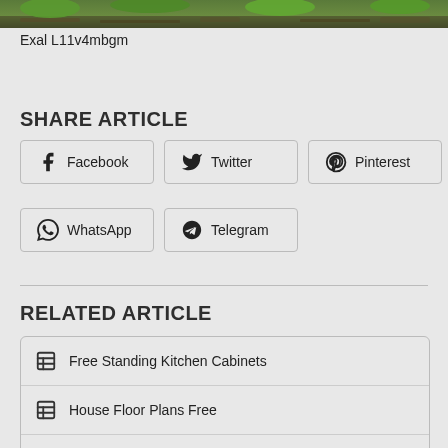[Figure (photo): Partial photo strip of a garden/field scene with green plants and soil visible at the top of the page]
Exal L11v4mbgm
SHARE ARTICLE
Facebook
Twitter
Pinterest
WhatsApp
Telegram
RELATED ARTICLE
Free Standing Kitchen Cabinets
House Floor Plans Free
Free Standing Kitchen Sink Cabinet